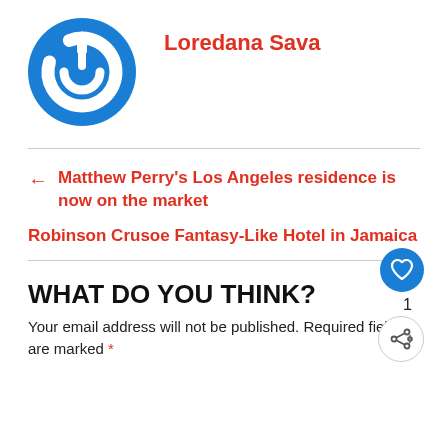[Figure (logo): Blue circular power/on button logo icon]
Loredana Sava
← Matthew Perry's Los Angeles residence is now on the market
Robinson Crusoe Fantasy-Like Hotel in Jamaica →
WHAT DO YOU THINK?
Your email address will not be published. Required fields are marked *